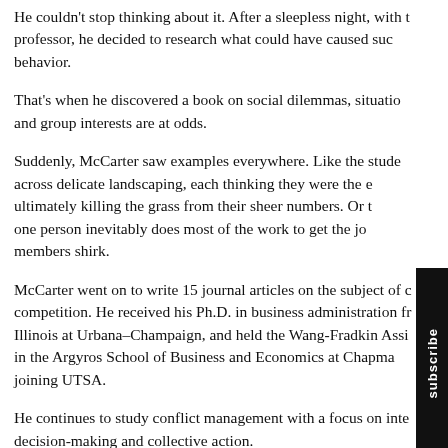He couldn't stop thinking about it. After a sleepless night, with the professor, he decided to research what could have caused such behavior.
That's when he discovered a book on social dilemmas, situations where individual and group interests are at odds.
Suddenly, McCarter saw examples everywhere. Like the students cutting across delicate landscaping, each thinking they were the exception, ultimately killing the grass from their sheer numbers. Or the group where one person inevitably does most of the work to get the job done while members shirk.
McCarter went on to write 15 journal articles on the subject of conflict and competition. He received his Ph.D. in business administration from Illinois at Urbana–Champaign, and held the Wang-Fradkin Associateship in the Argyros School of Business and Economics at Chapman before joining UTSA.
He continues to study conflict management with a focus on interpersonal decision-making and collective action.
“I’m still fascinated by it,” he said. “I see it as a problem that we
And the problem is everywhere, prevalent in churches, businesses